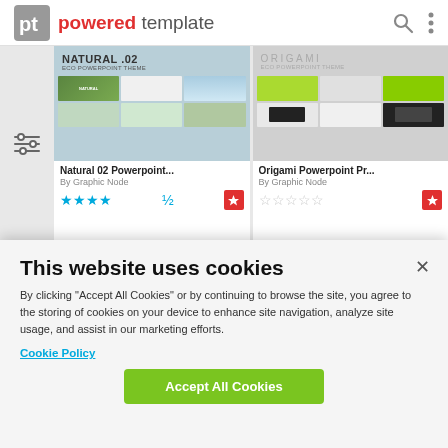powered template
[Figure (screenshot): Two PowerPoint template product cards: 'Natural 02 Powerpoint...' and 'Origami Powerpoint Pr...' by Graphic Node. The first has a teal/blue background with green slide thumbnails and 4.5 star rating. The second has a gray background with lime-green origami shapes and empty star rating. Both have a red crown badge.]
This website uses cookies
By clicking “Accept All Cookies” or by continuing to browse the site, you agree to the storing of cookies on your device to enhance site navigation, analyze site usage, and assist in our marketing efforts.
Cookie Policy
Accept All Cookies